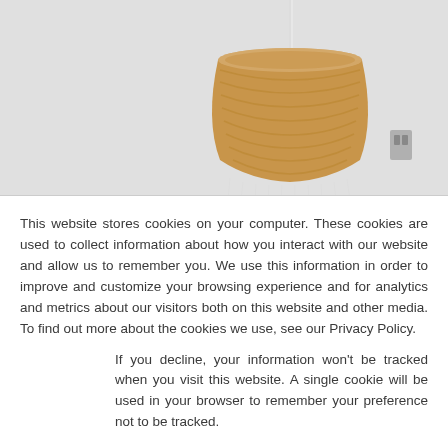[Figure (photo): Photo of a wicker/rattan pendant lamp shade hanging against a light gray wall. The lamp has a dome-shaped woven top and thin wire strands hanging below it.]
This website stores cookies on your computer. These cookies are used to collect information about how you interact with our website and allow us to remember you. We use this information in order to improve and customize your browsing experience and for analytics and metrics about our visitors both on this website and other media. To find out more about the cookies we use, see our Privacy Policy.
If you decline, your information won't be tracked when you visit this website. A single cookie will be used in your browser to remember your preference not to be tracked.